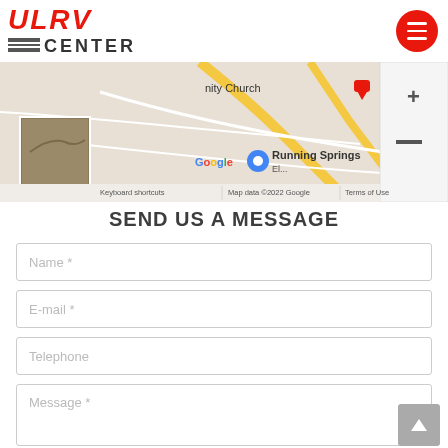ULRV CENTER
[Figure (map): Google Maps screenshot showing Running Springs area with roads, map controls, thumbnail, and attribution text: 'Keyboard shortcuts   Map data ©2022 Google   Terms of Use']
SEND US A MESSAGE
Name *
E-mail *
Telephone
Message *